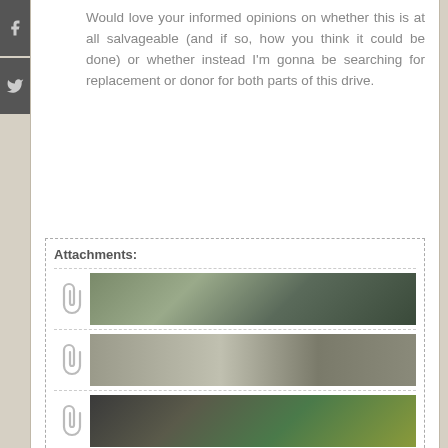Would love your informed opinions on whether this is at all salvageable (and if so, how you think it could be done) or whether instead I'm gonna be searching for replacement or donor for both parts of this drive.
[Figure (other): Attachments section with three thumbnail images of mechanical/drive parts with paperclip icons, enclosed in a dashed border box labeled 'Attachments:']